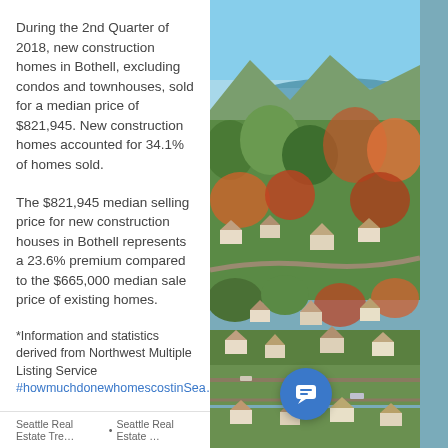During the 2nd Quarter of 2018, new construction homes in Bothell, excluding condos and townhouses, sold for a median price of $821,945. New construction homes accounted for 34.1% of homes sold.
The $821,945 median selling price for new construction houses in Bothell represents a 23.6% premium compared to the $665,000 median sale price of existing homes.
*Information and statistics derived from Northwest Multiple Listing Service #howmuchdonewhomescostinSea...
[Figure (photo): Aerial view of a suburban neighborhood with trees in autumn colors, a lake or body of water visible in the background, residential houses, and roads.]
Seattle Real Estate Tre… • Seattle Real Estate …